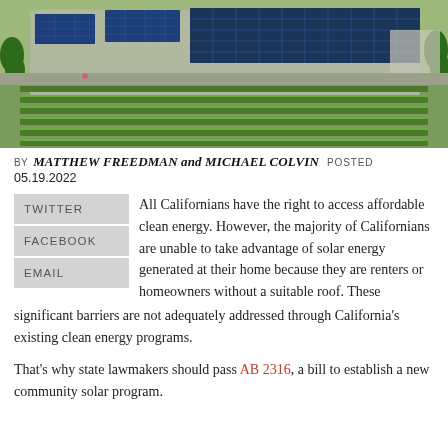[Figure (photo): Aerial view of a facility with rows of blue solar panels on the roof and rows of green plants/crops on the ground below, surrounded by trees and buildings.]
BY MATTHEW FREEDMAN and MICHAEL COLVIN  POSTED 05.19.2022
All Californians have the right to access affordable clean energy. However, the majority of Californians are unable to take advantage of solar energy generated at their home because they are renters or homeowners without a suitable roof. These significant barriers are not adequately addressed through California's existing clean energy programs.
That's why state lawmakers should pass AB 2316, a bill to establish a new community solar program.